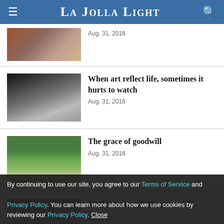La Jolla Light
Aug. 31, 2016
When art reflect life, sometimes it hurts to watch
Aug. 31, 2016
The grace of goodwill
Aug. 31, 2016
Reflections of life at the 71-mark
By continuing to use our site, you agree to our Terms of Service and Privacy Policy. You can learn more about how we use cookies by reviewing our Privacy Policy. Close